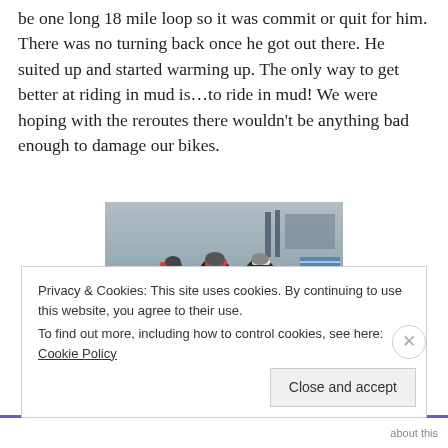be one long 18 mile loop so it was commit or quit for him. There was no turning back once he got out there. He suited up and started warming up. The only way to get better at riding in mud is…to ride in mud! We were hoping with the reroutes there wouldn't be anything bad enough to damage our bikes.
[Figure (photo): Cyclists racing on a muddy cyclocross course, with several riders in helmets and cycling gear competing closely together. The background shows a grassy area and some structures.]
Privacy & Cookies: This site uses cookies. By continuing to use this website, you agree to their use.
To find out more, including how to control cookies, see here: Cookie Policy